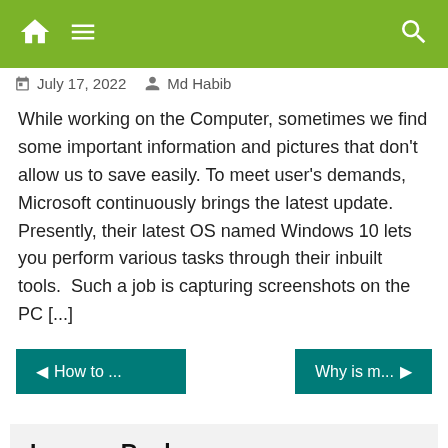Header navigation bar with home, menu, and search icons
July 17, 2022   Md Habib
While working on the Computer, sometimes we find some important information and pictures that don't allow us to save easily. To meet user's demands, Microsoft continuously brings the latest update. Presently, their latest OS named Windows 10 lets you perform various tasks through their inbuilt tools.  Such a job is capturing screenshots on the PC [...]
◄ How to ...
Why is m... ►
Leave a Reply
Your email address will not be published. Required fields are marked *